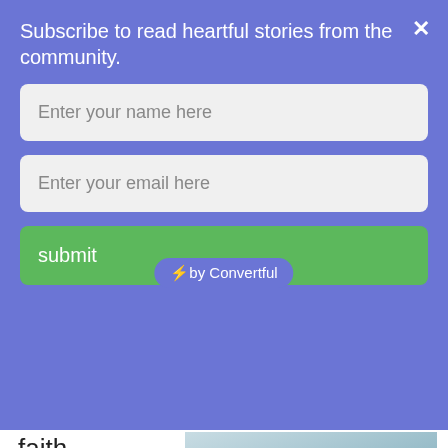Subscribe to read heartful stories from the community.
Enter your name here
Enter your email here
submit
[Figure (screenshot): Convertful subscription widget badge and partial photo of people]
faith with my religion too? I am very clear on my religion...
I believe in Allah and I also believe that only Allah has a right to judge me.
Homosexuality is sin in Islam but there are other